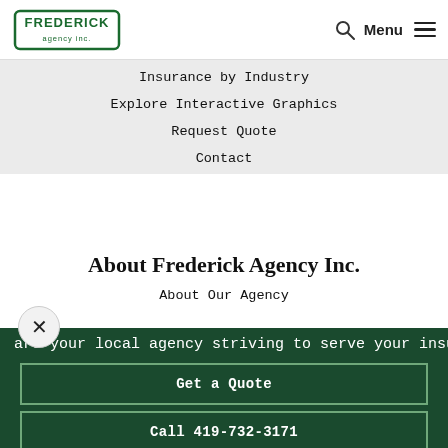Frederick Agency Inc. — navigation header with logo, search, Menu
Insurance by Industry
Explore Interactive Graphics
Request Quote
Contact
About Frederick Agency Inc.
About Our Agency
are your local agency striving to serve your insu
Get a Quote
Call 419-732-3171